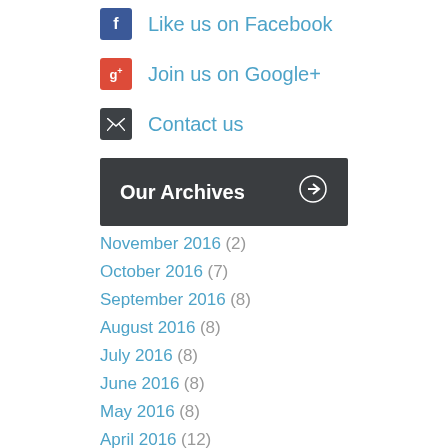Like us on Facebook
Join us on Google+
Contact us
Our Archives
November 2016 (2)
October 2016 (7)
September 2016 (8)
August 2016 (8)
July 2016 (8)
June 2016 (8)
May 2016 (8)
April 2016 (12)
March 2016 (2)